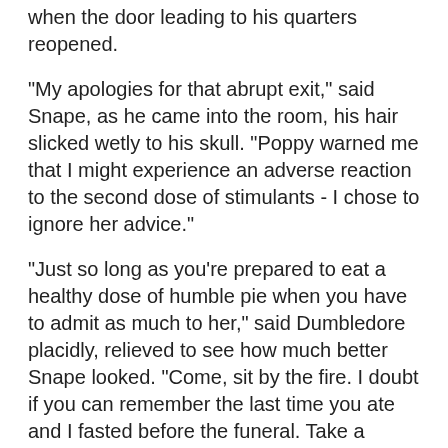when the door leading to his quarters reopened.
"My apologies for that abrupt exit," said Snape, as he came into the room, his hair slicked wetly to his skull. "Poppy warned me that I might experience an adverse reaction to the second dose of stimulants - I chose to ignore her advice."
"Just so long as you're prepared to eat a healthy dose of humble pie when you have to admit as much to her," said Dumbledore placidly, relieved to see how much better Snape looked. "Come, sit by the fire. I doubt if you can remember the last time you ate and I fasted before the funeral. Take a simple meal with me. Hot buttered toast and scrambled eggs."
"Your cure for all ills," said Snape. But he drank the ginger tea offered to him, and after the first tentative mouthful ate enough food to return a little colour to his face.